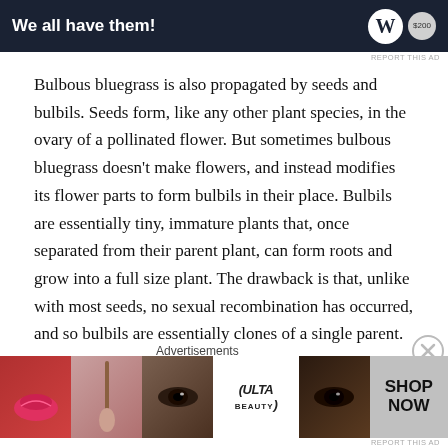[Figure (screenshot): Top advertisement banner with dark navy background reading 'We all have them!' with WordPress-style logo and badge]
REPORT THIS AD
Bulbous bluegrass is also propagated by seeds and bulbils. Seeds form, like any other plant species, in the ovary of a pollinated flower. But sometimes bulbous bluegrass doesn't make flowers, and instead modifies its flower parts to form bulbils in their place. Bulbils are essentially tiny, immature plants that, once separated from their parent plant, can form roots and grow into a full size plant. The drawback is that, unlike with most seeds, no sexual recombination has occurred, and so bulbils are essentially clones of a single parent.
The bulbils of bulbous bluegrass sit atop the glumes
Advertisements
[Figure (photo): Bottom advertisement banner for ULTA beauty showing close-up images of lips, makeup brush, eyes, ULTA logo, more eyes, and SHOP NOW text]